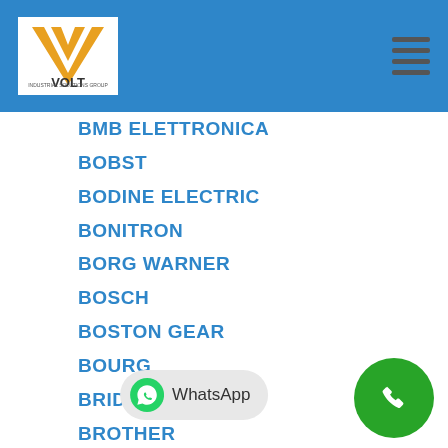VOLT Industrial Solutions Group
BMB ELETTRONICA
BOBST
BODINE ELECTRIC
BONITRON
BORG WARNER
BOSCH
BOSTON GEAR
BOURG
BRIDGEPORT
BROTHER
BROWNING
BURTON
BUTLER
C-E CANADA
CAMCO
CAN-TRON
CAROTRON
CEGELEC
CEI
CENTURY